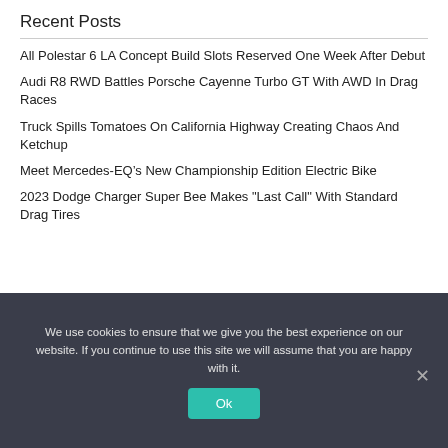Recent Posts
All Polestar 6 LA Concept Build Slots Reserved One Week After Debut
Audi R8 RWD Battles Porsche Cayenne Turbo GT With AWD In Drag Races
Truck Spills Tomatoes On California Highway Creating Chaos And Ketchup
Meet Mercedes-EQ’s New Championship Edition Electric Bike
2023 Dodge Charger Super Bee Makes "Last Call" With Standard Drag Tires
We use cookies to ensure that we give you the best experience on our website. If you continue to use this site we will assume that you are happy with it.